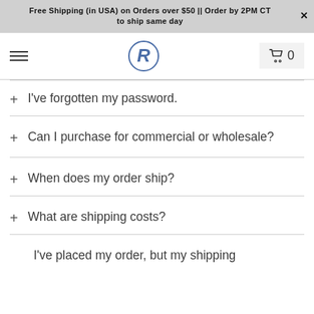Free Shipping (in USA) on Orders over $50 || Order by 2PM CT to ship same day
+ I've forgotten my password.
+ Can I purchase for commercial or wholesale?
+ When does my order ship?
+ What are shipping costs?
I've placed my order, but my shipping